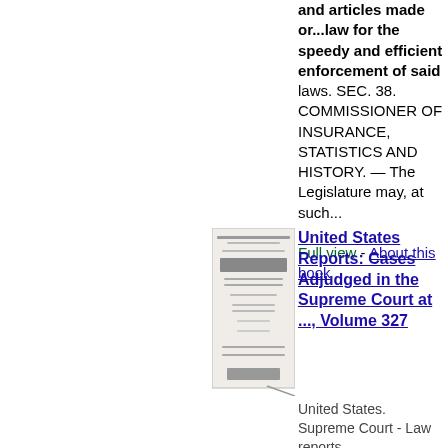and articles made or...law for the speedy and efficient enforcement of said laws. SEC. 38. COMMISSIONER OF INSURANCE, STATISTICS AND HISTORY. — The Legislature may, at such...
Full view - About this book
[Figure (illustration): Thumbnail image of a book cover for United States Reports]
United States Reports: Cases Adjudged in the Supreme Court at ..., Volume 327
United States. Supreme Court - Law reports,